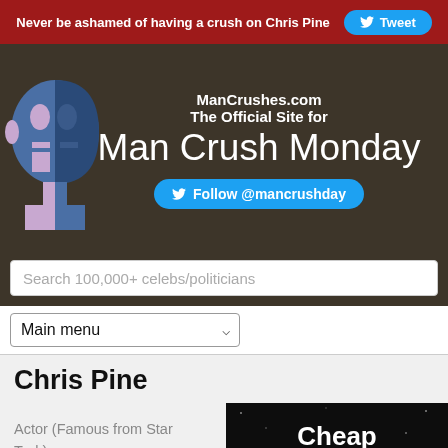Never be ashamed of having a crush on Chris Pine  Tweet
[Figure (logo): ManCrushes.com website header with logo of stylized two-tone male face silhouette, site name ManCrushes.com, The Official Site for Man Crush Monday, Follow @mancrushday button]
Search 100,000+ celebs/politicians
Main menu
Chris Pine
Actor (Famous from Star Trek)
[Figure (photo): Dark advertisement image with text: Cheap Facebook Instagram]